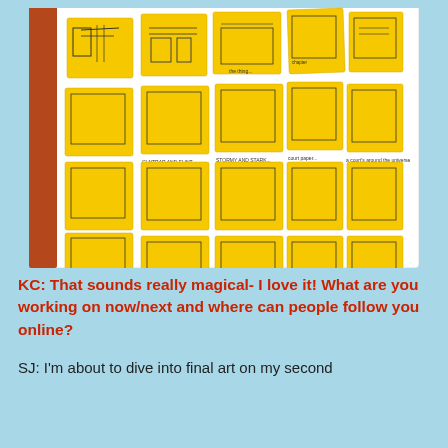[Figure (photo): An open book/binder showing a grid of yellow sticky-note-style thumbnail sketches/storyboards with black ink drawings on them, laid out in rows across white pages.]
KC: That sounds really magical- I love it! What are you working on now/next and where can people follow you online?
SJ: I'm about to dive into final art on my second